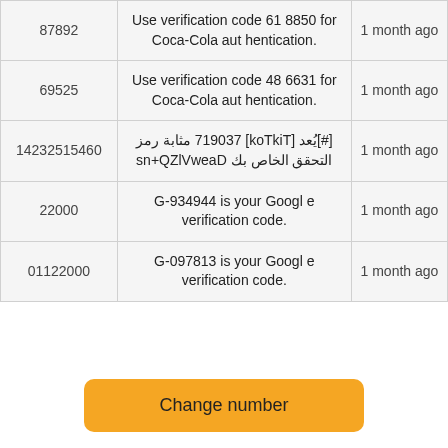| Number | Message | Time |
| --- | --- | --- |
| 87892 | Use verification code 618850 for Coca-Cola authentication. | 1 month ago |
| 69525 | Use verification code 486631 for Coca-Cola authentication. | 1 month ago |
| 14232515460 | [TikTok] 730917 يُعد[#] مثابة رمز التحقق الخاص بك DaewVlZQ+ns | 1 month ago |
| 22000 | G-934944 is your Google verification code. | 1 month ago |
| 01122000 | G-097813 is your Google verification code. | 1 month ago |
Change number